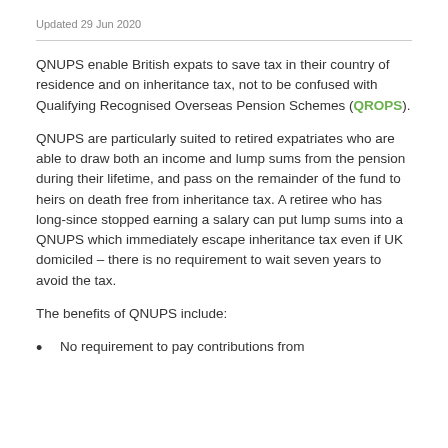Updated 29 Jun 2020
QNUPS enable British expats to save tax in their country of residence and on inheritance tax, not to be confused with Qualifying Recognised Overseas Pension Schemes (QROPS).
QNUPS are particularly suited to retired expatriates who are able to draw both an income and lump sums from the pension during their lifetime, and pass on the remainder of the fund to heirs on death free from inheritance tax. A retiree who has long-since stopped earning a salary can put lump sums into a QNUPS which immediately escape inheritance tax even if UK domiciled – there is no requirement to wait seven years to avoid the tax.
The benefits of QNUPS include:
No requirement to pay contributions from